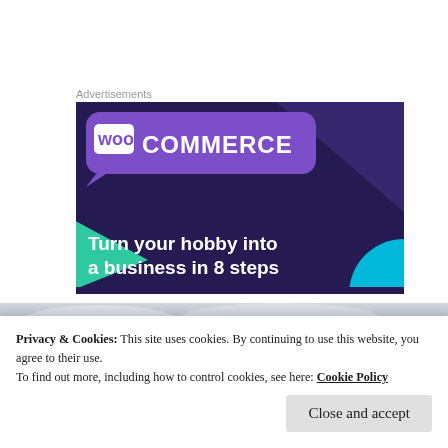Advertisements
[Figure (illustration): WooCommerce advertisement banner with purple background. Shows WooCommerce logo at top left in a purple speech-bubble shape. Dark navy background with green triangle shape on left, blue quarter-circle on bottom right. Text reads 'Turn your hobby into a business in 8 steps']
[Figure (photo): Partial photo of cloudy sky, gray tones]
Privacy & Cookies: This site uses cookies. By continuing to use this website, you agree to their use.
To find out more, including how to control cookies, see here: Cookie Policy
Close and accept